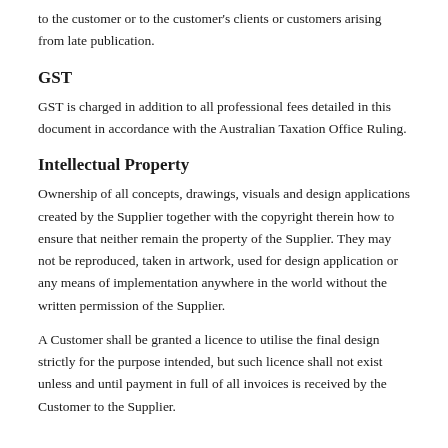to the customer or to the customer's clients or customers arising from late publication.
GST
GST is charged in addition to all professional fees detailed in this document in accordance with the Australian Taxation Office Ruling.
Intellectual Property
Ownership of all concepts, drawings, visuals and design applications created by the Supplier together with the copyright therein how to ensure that neither remain the property of the Supplier. They may not be reproduced, taken in artwork, used for design application or any means of implementation anywhere in the world without the written permission of the Supplier.
A Customer shall be granted a licence to utilise the final design strictly for the purpose intended, but such licence shall not exist unless and until payment in full of all invoices is received by the Customer to the Supplier.